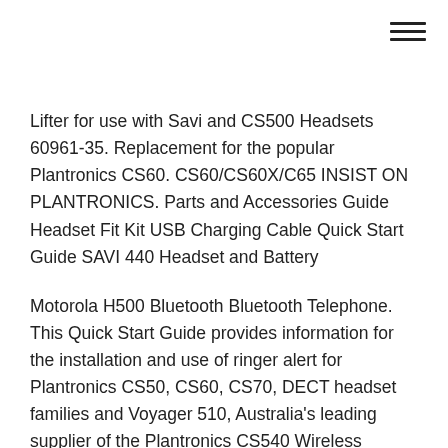[Figure (other): Hamburger menu icon (three horizontal lines) in top-right corner]
Lifter for use with Savi and CS500 Headsets 60961-35. Replacement for the popular Plantronics CS60. CS60/CS60X/C65 INSIST ON PLANTRONICS. Parts and Accessories Guide Headset Fit Kit USB Charging Cable Quick Start Guide SAVI 440 Headset and Battery
Motorola H500 Bluetooth Bluetooth Telephone. This Quick Start Guide provides information for the installation and use of ringer alert for Plantronics CS50, CS60, CS70, DECT headset families and Voyager 510, Australia's leading supplier of the Plantronics CS540 Wireless Headset. the previous CS60 for over-the-ear